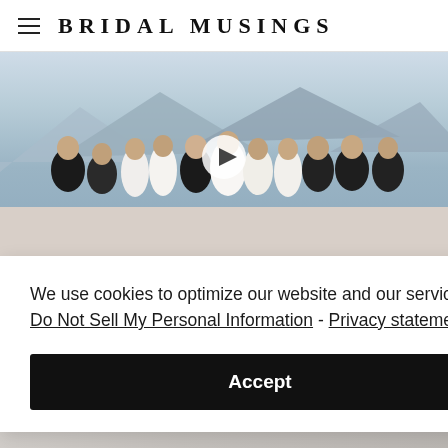BRIDAL MUSINGS
[Figure (photo): Wedding party group photo outdoors with mountain backdrop. Bridesmaids in white dresses and groomsmen in dark suits, with a video play button overlay in the center.]
We use cookies to optimize our website and our service. Do Not Sell My Personal Information - Privacy statement
Accept